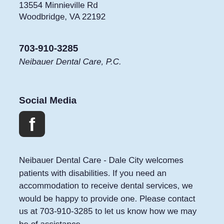13554 Minnieville Rd
Woodbridge, VA 22192
703-910-3285
Neibauer Dental Care, P.C.
Social Media
[Figure (logo): Facebook icon - rounded square with white 'f' logo on dark background]
Neibauer Dental Care - Dale City welcomes patients with disabilities. If you need an accommodation to receive dental services, we would be happy to provide one. Please contact us at 703-910-3285 to let us know how we may be of assistance.